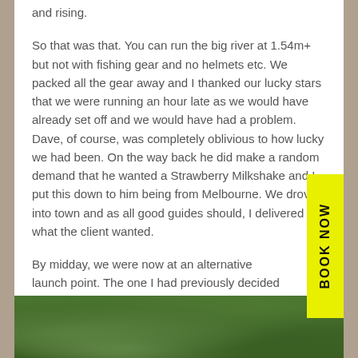and rising.
So that was that. You can run the big river at 1.54m+ but not with fishing gear and no helmets etc. We packed all the gear away and I thanked our lucky stars that we were running an hour late as we would have already set off and we would have had a problem. Dave, of course, was completely oblivious to how lucky we had been. On the way back he did make a random demand that he wanted a Strawberry Milkshake and I put this down to him being from Melbourne. We drove into town and as all good guides should, I delivered what the client wanted.
By midday, we were now at an alternative launch point. The one I had previously decided not to use as it was still running a little dirty. However, you gotta do what you gotta do.
[Figure (photo): A dense green forest canopy viewed from below or at eye level, showing trees and foliage.]